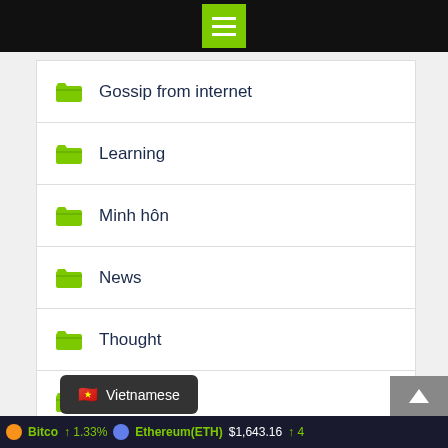Navigation menu bar
Gossip from internet
Learning
Minh hôn
News
Thought
Truyện
Trending Tags
Bitcoin 1.33% Ethereum(ETH) $1,643.16 ↑ 4